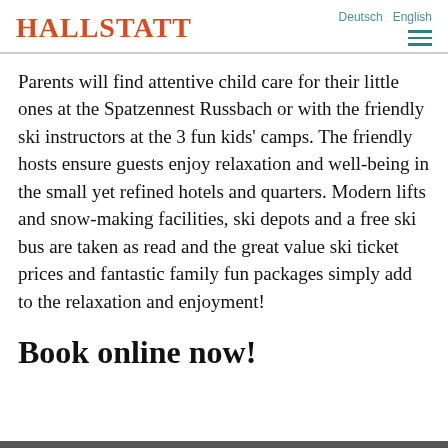HALLSTATT | Deutsch English
Parents will find attentive child care for their little ones at the Spatzennest Russbach or with the friendly ski instructors at the 3 fun kids' camps. The friendly hosts ensure guests enjoy relaxation and well-being in the small yet refined hotels and quarters. Modern lifts and snow-making facilities, ski depots and a free ski bus are taken as read and the great value ski ticket prices and fantastic family fun packages simply add to the relaxation and enjoyment!
Book online now!